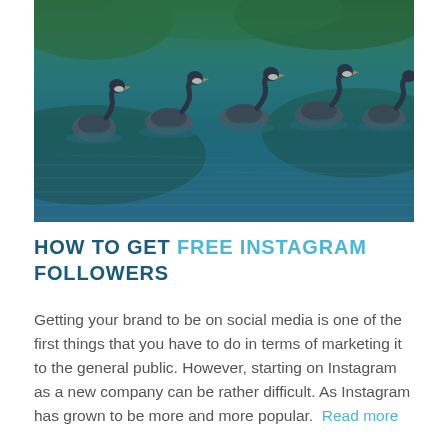[Figure (photo): A group of geese swimming in blue-green water with ripples, photographed from a low angle. The birds are grey/dark colored swimming in a line across the frame.]
HOW TO GET FREE INSTAGRAM FOLLOWERS
Getting your brand to be on social media is one of the first things that you have to do in terms of marketing it to the general public. However, starting on Instagram as a new company can be rather difficult. As Instagram has grown to be more and more popular. Read more